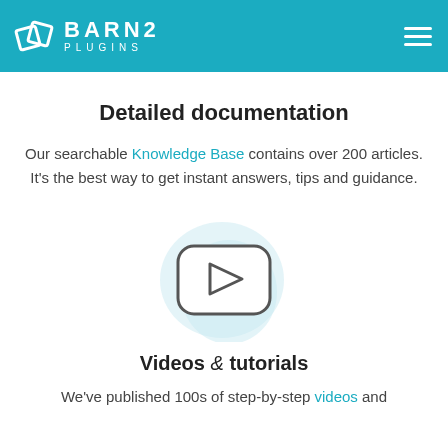BARN2 PLUGINS
Detailed documentation
Our searchable Knowledge Base contains over 200 articles. It's the best way to get instant answers, tips and guidance.
[Figure (illustration): Video play button icon inside a rounded rectangle, with a soft blue circular blob behind it]
Videos & tutorials
We've published 100s of step-by-step videos and